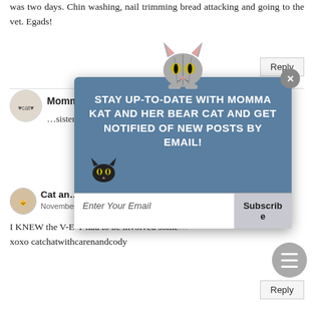was two days. Chin washing, nail trimming bread attacking and going to the vet. Egads!
Momma Kat and Her Bear Cat
…sister is the
Cat and…
November 14, 2017 at 7:01 PM
I KNEW the V-E-T had to be involved some…
xoxo catchatwithcarenandcody
[Figure (infographic): Popup overlay with a cartoon tabby cat on top, blue background box reading: STAY UP-TO-DATE WITH MOMMA KAT AND HER BEAR CAT AND GET NOTIFIED OF NEW POSTS BY EMAIL! with a close X button and an email subscription input field with Subscribe button. Small black cartoon cat in lower left of popup.]